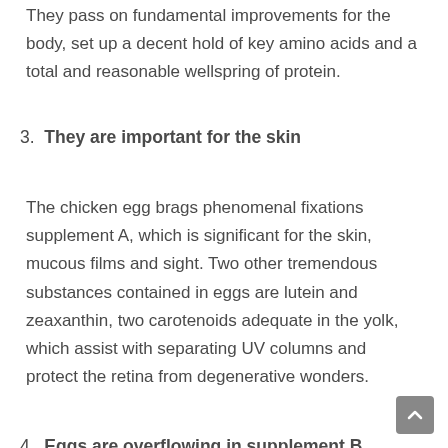They pass on fundamental improvements for the body, set up a decent hold of key amino acids and a total and reasonable wellspring of protein.
3. They are important for the skin
The chicken egg brags phenomenal fixations supplement A, which is significant for the skin, mucous films and sight. Two other tremendous substances contained in eggs are lutein and zeaxanthin, two carotenoids adequate in the yolk, which assist with separating UV columns and protect the retina from degenerative wonders.
4. Eggs are overflowing in supplement B